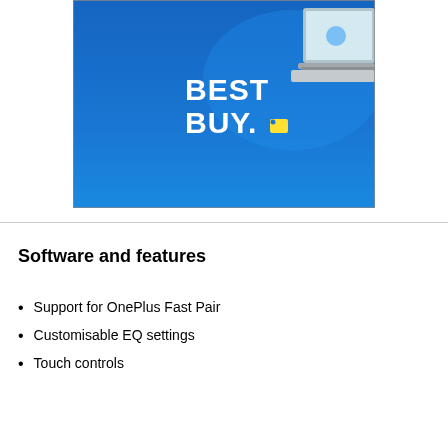[Figure (photo): Best Buy advertisement image with blue background showing the Best Buy logo (white text 'BEST BUY.' with yellow price tag icon) and a partial view of a laptop on the right side.]
Software and features
Support for OnePlus Fast Pair
Customisable EQ settings
Touch controls